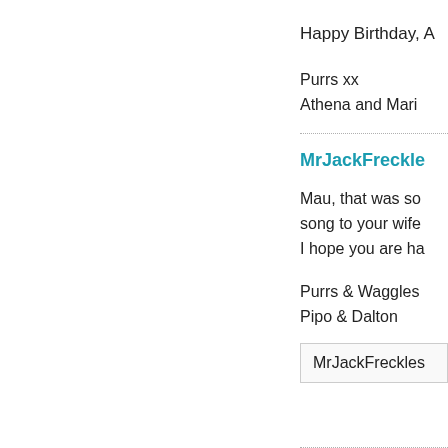Happy Birthday, A
Purrs xx
Athena and Mari
MrJackFreckle
Mau, that was so
song to your wife
I hope you are ha
Purrs & Waggles
Pipo & Dalton
MrJackFreckles